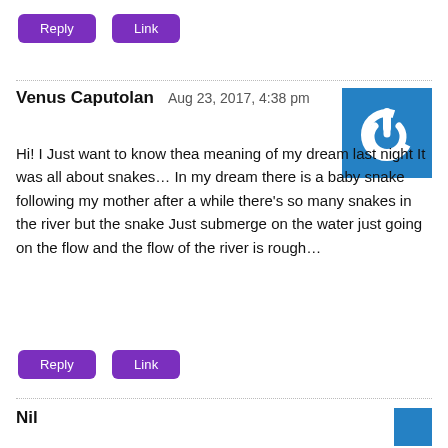Reply | Link (buttons at top)
Venus Caputolan   Aug 23, 2017, 4:38 pm
Hi! I Just want to know thea meaning of my dream last night It was all about snakes… In my dream there is a baby snake following my mother after a while there's so many snakes in the river but the snake Just submerge on the water just going on the flow and the flow of the river is rough…
[Figure (logo): Blue square avatar with white power button icon]
Reply | Link (buttons at bottom)
Nil...